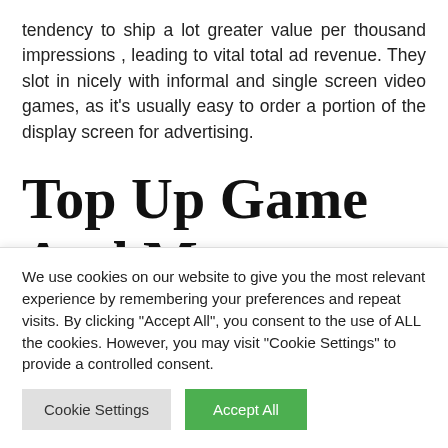tendency to ship a lot greater value per thousand impressions , leading to vital total ad revenue. They slot in nicely with informal and single screen video games, as it's usually easy to order a portion of the display screen for advertising.
Top Up Game And More Enjoyable On Dunia Games
We use cookies on our website to give you the most relevant experience by remembering your preferences and repeat visits. By clicking "Accept All", you consent to the use of ALL the cookies. However, you may visit "Cookie Settings" to provide a controlled consent.